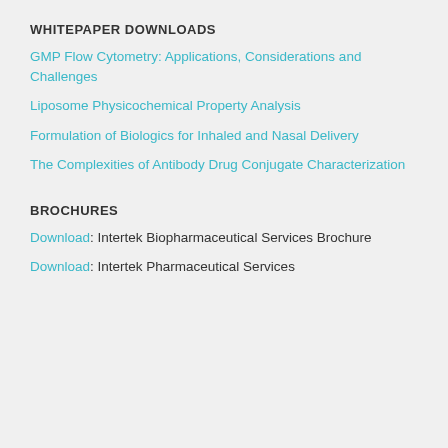WHITEPAPER DOWNLOADS
GMP Flow Cytometry: Applications, Considerations and Challenges
Liposome Physicochemical Property Analysis
Formulation of Biologics for Inhaled and Nasal Delivery
The Complexities of Antibody Drug Conjugate Characterization
BROCHURES
Download: Intertek Biopharmaceutical Services Brochure
Download: Intertek Pharmaceutical Services